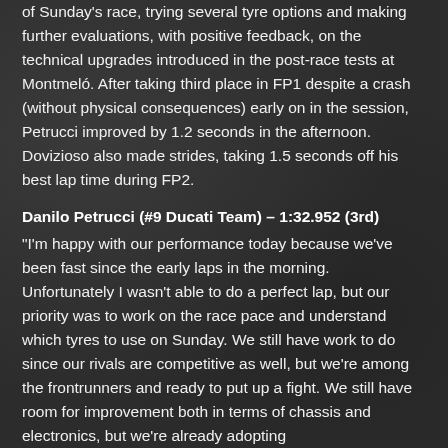of Sunday's race, trying several tyre options and making further evaluations, with positive feedback, on the technical upgrades introduced in the post-race tests at Montmeló. After taking third place in FP1 despite a crash (without physical consequences) early on in the session, Petrucci improved by 1.2 seconds in the afternoon. Dovizioso also made strides, taking 1.5 seconds off his best lap time during FP2.
Danilo Petrucci (#9 Ducati Team) – 1:32.952 (3rd)
"I'm happy with our performance today because we've been fast since the early laps in the morning. Unfortunately I wasn't able to do a perfect lap, but our priority was to work on the race pace and understand which tyres to use on Sunday. We still have work to do since our rivals are competitive as well, but we're among the frontrunners and ready to put up a fight. We still have room for improvement both in terms of chassis and electronics, but we're already adopting...